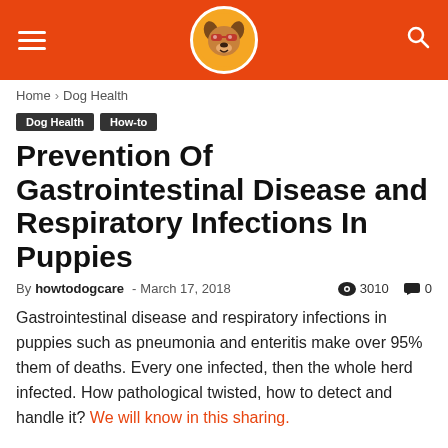Navigation header with hamburger menu, dog logo, and search icon
Home › Dog Health
Dog Health
How-to
Prevention Of Gastrointestinal Disease and Respiratory Infections In Puppies
By howtodogcare - March 17, 2018  3010  0
Gastrointestinal disease and respiratory infections in puppies such as pneumonia and enteritis make over 95% them of deaths. Every one infected, then the whole herd infected. How pathological twisted, how to detect and handle it? We will know in this sharing.